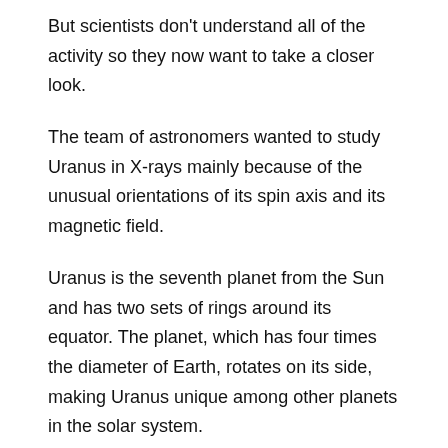But scientists don't understand all of the activity so they now want to take a closer look.
The team of astronomers wanted to study Uranus in X-rays mainly because of the unusual orientations of its spin axis and its magnetic field.
Uranus is the seventh planet from the Sun and has two sets of rings around its equator. The planet, which has four times the diameter of Earth, rotates on its side, making Uranus unique among other planets in the solar system.
You Might Like This: Why Is Uranus On Its Side?